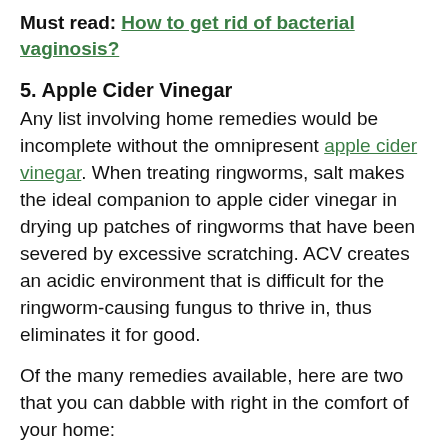Must read: How to get rid of bacterial vaginosis?
5. Apple Cider Vinegar
Any list involving home remedies would be incomplete without the omnipresent apple cider vinegar. When treating ringworms, salt makes the ideal companion to apple cider vinegar in drying up patches of ringworms that have been severed by excessive scratching. ACV creates an acidic environment that is difficult for the ringworm-causing fungus to thrive in, thus eliminates it for good.
Of the many remedies available, here are two that you can dabble with right in the comfort of your home:
First of the top of our heads is a mixture of a teaspoon of salt in a tablespoon of apple cider